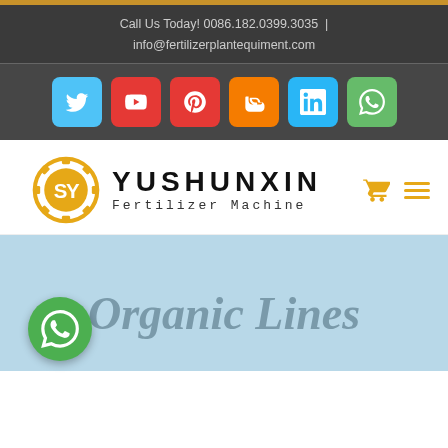Call Us Today! 0086.182.0399.3035 | info@fertilizerplantequiment.com
[Figure (logo): Social media icon bar with Twitter, YouTube, Pinterest, Blogger, LinkedIn, WhatsApp icons]
[Figure (logo): Yushunxin Fertilizer Machine logo with gear emblem]
Organic Lines
[Figure (logo): WhatsApp floating contact button (green circle)]